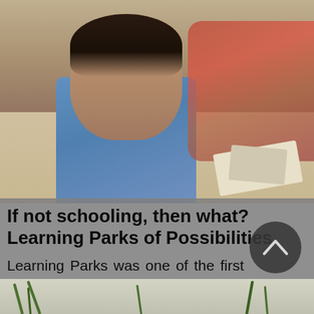[Figure (photo): A child in a blue shirt looking down at materials on the ground, with other children and adults visible in the background in an outdoor setting.]
If not schooling, then what? Learning Parks of Possibilities
Learning Parks was one of the first experiments co-created by Shikshantar in Udaipur in the year 2000
[Figure (photo): Bottom portion of a photo showing grass blades against a light background.]